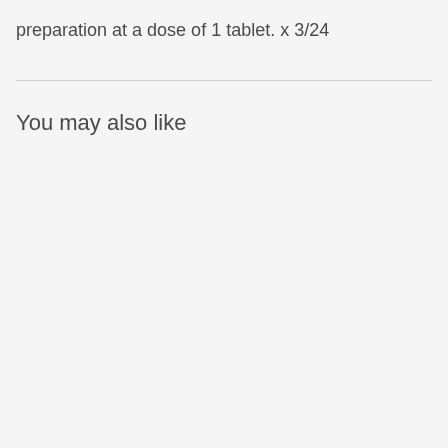preparation at a dose of 1 tablet. x 3/24
You may also like